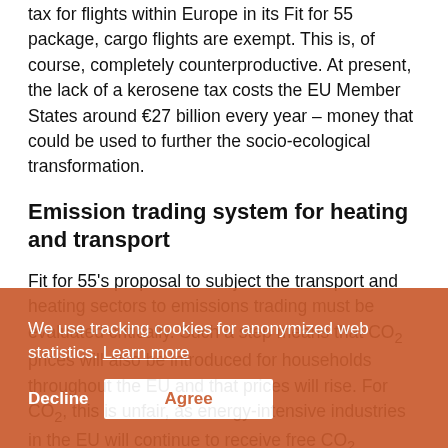tax for flights within Europe in its Fit for 55 package, cargo flights are exempt. This is, of course, completely counterproductive. At present, the lack of a kerosene tax costs the EU Member States around €27 billion every year – money that could be used to further the socio-ecological transformation.
Emission trading system for heating and transport
Fit for 55's proposal to subject the transport and heating sectors to emissions trading must be evaluated critically. Such a step means that CO₂ prices will also be introduced for households throughout the EU and that prices will rise. For CO₂, this is unfair, as energy-intensive industries in the EU will continue to receive free CO₂ certificates and thus essentially be relieved of their CO₂ prices. Furthermore, purchasing power varies greatly between Member States, so the impact of a uniform CO₂ price on local people will also vary.
We use tracking cookies for anonymized web statistics. Learn more